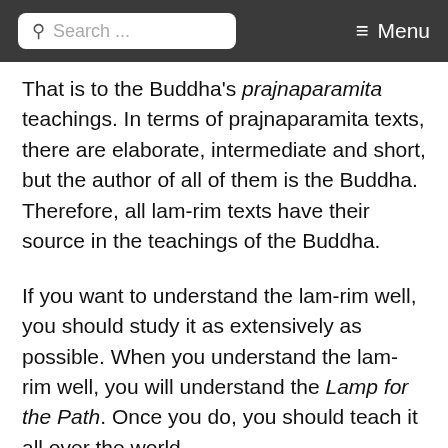Search ... Menu
That is to the Buddha's prajnaparamita teachings. In terms of prajnaparamita texts, there are elaborate, intermediate and short, but the author of all of them is the Buddha. Therefore, all lam-rim texts have their source in the teachings of the Buddha.
If you want to understand the lam-rim well, you should study it as extensively as possible. When you understand the lam-rim well, you will understand the Lamp for the Path. Once you do, you should teach it all over the world.
There are many aspects of the Mahayana tradition, but in general, it contains great knowledge. The main thing, however, the fundamental thing, is